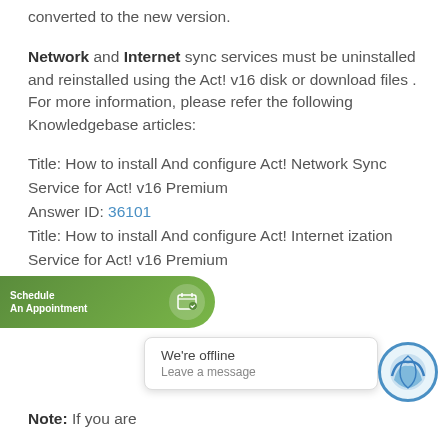converted to the new version.
Network and Internet sync services must be uninstalled and reinstalled using the Act! v16 disk or download files . For more information, please refer the following Knowledgebase articles:
Title: How to install And configure Act! Network Sync Service for Act! v16 Premium
Answer ID: 36101
Title: How to install And configure Act! Internet ization Service for Act! v16 Premium
Answer ID: 36102
Note: If you are